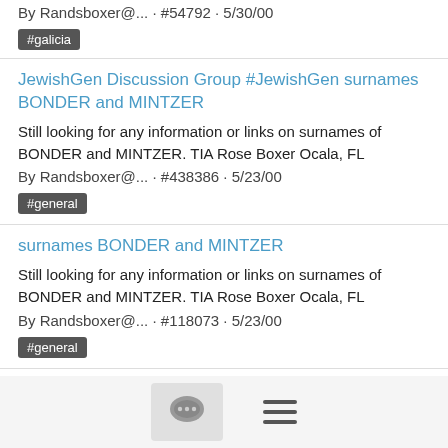By Randsboxer@... · #54792 · 5/30/00
#galicia
JewishGen Discussion Group #JewishGen surnames BONDER and MINTZER
Still looking for any information or links on surnames of BONDER and MINTZER. TIA Rose Boxer Ocala, FL
By Randsboxer@... · #438386 · 5/23/00
#general
surnames BONDER and MINTZER
Still looking for any information or links on surnames of BONDER and MINTZER. TIA Rose Boxer Ocala, FL
By Randsboxer@... · #118073 · 5/23/00
#general
JewishGen Discussion Group #JewishGen Millinery Center Synagogue
Hi When I tried the telephone number given by Naomi Fatouros for the milli...